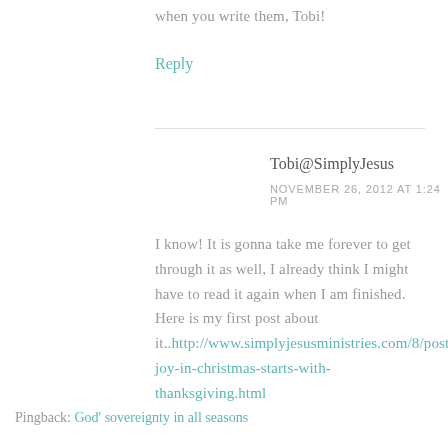when you write them, Tobi!
Reply
Tobi@SimplyJesus
NOVEMBER 26, 2012 AT 1:24 PM
I know! It is gonna take me forever to get through it as well, I already think I might have to read it again when I am finished. Here is my first post about it..http://www.simplyjesusministries.com/8/post/2012/11/the-joy-in-christmas-starts-with-thanksgiving.html
Pingback: God' sovereignty in all seasons